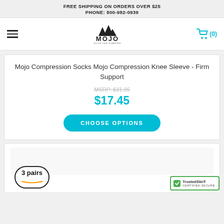FREE SHIPPING ON ORDERS OVER $25
PHONE: 800-982-0939
[Figure (logo): Mojo brand logo with mountain peaks graphic and text 'MOJO ELITE LEG PUMPING']
Mojo Compression Socks Mojo Compression Knee Sleeve - Firm Support
MSRP: $31.95
$17.45
CHOOSE OPTIONS
[Figure (photo): Product image showing compression socks with '3 pairs' badge and Amazon branding]
[Figure (other): TrustedSite CERTIFIED SECURE badge]